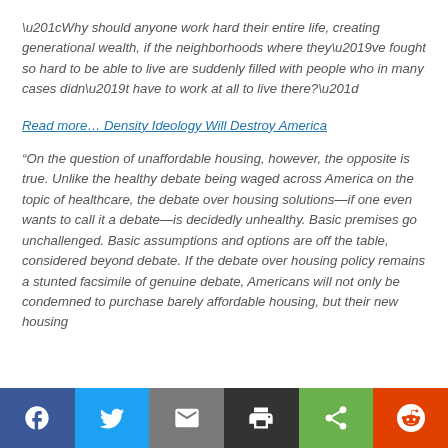“Why should anyone work hard their entire life, creating generational wealth, if the neighborhoods where they’ve fought so hard to be able to live are suddenly filled with people who in many cases didn’t have to work at all to live there?”
Read more… Density Ideology Will Destroy America
“On the question of unaffordable housing, however, the opposite is true. Unlike the healthy debate being waged across America on the topic of healthcare, the debate over housing solutions—if one even wants to call it a debate—is decidedly unhealthy. Basic premises go unchallenged. Basic assumptions and options are off the table, considered beyond debate. If the debate over housing policy remains a stunted facsimile of genuine debate, Americans will not only be condemned to purchase barely affordable housing, but their new housing